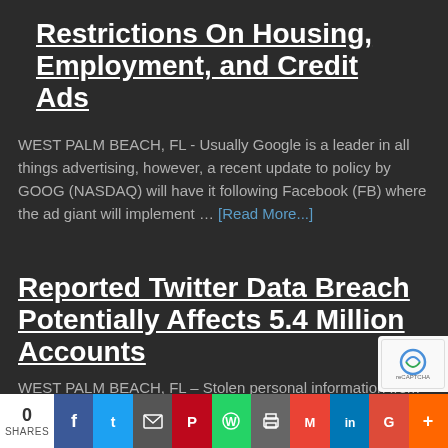Restrictions On Housing, Employment, and Credit Ads
WEST PALM BEACH, FL - Usually Google is a leader in all things advertising, however, a recent update to policy by GOOG (NASDAQ) will have it following Facebook (FB) where the ad giant will implement … [Read More...]
Reported Twitter Data Breach Potentially Affects 5.4 Million Accounts
WEST PALM BEACH, FL – Stolen personal information from 5.4 million Twitter users has been discovered for sale on a hacker forum. With this information, including emails and phone numbers, … [Read More...]
0 SHARES | f | t | email | P | W | print | M | in | G | +